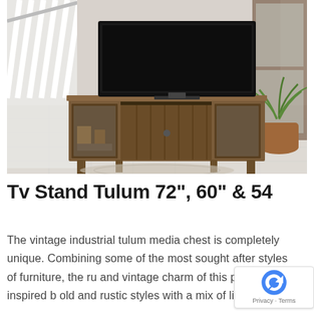[Figure (photo): A rustic wooden TV stand (Tulum style) with sliding barn-style center doors, glass-panel side doors showing shelved items, and a large flat-screen TV on top, photographed in an outdoor/patio setting with white railings on the left and a potted palm plant on the right.]
Tv Stand Tulum 72", 60" & 54
The vintage industrial tulum media chest is completely unique. Combining some of the most sought after styles of furniture, the ru and vintage charm of this piece is inspired b old and rustic styles with a mix of lights in its